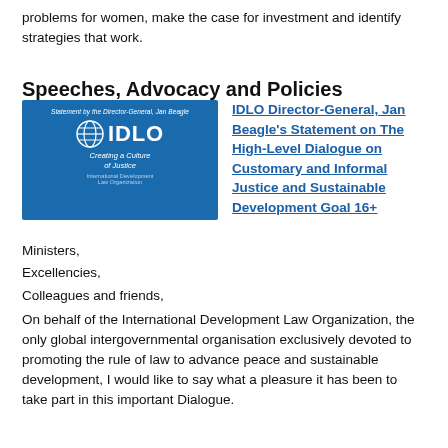problems for women, make the case for investment and identify strategies that work.
Speeches, Advocacy and Policies
[Figure (illustration): IDLO branded image with blue background showing globe icon, IDLO logo, and text 'Statement by the Director-General, Jan Beagle' and 'Creating a Culture of Justice, International Development Law Organization']
IDLO Director-General, Jan Beagle's Statement on The High-Level Dialogue on Customary and Informal Justice and Sustainable Development Goal 16+
Ministers,
Excellencies,
Colleagues and friends,
On behalf of the International Development Law Organization, the only global intergovernmental organisation exclusively devoted to promoting the rule of law to advance peace and sustainable development, I would like to say what a pleasure it has been to take part in this important Dialogue.